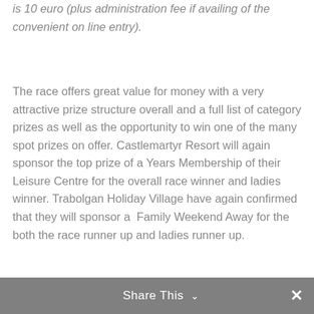is 10 euro (plus administration fee if availing of the convenient on line entry).
The race offers great value for money with a very attractive prize structure overall and a full list of category prizes as well as the opportunity to win one of the many spot prizes on offer. Castlemartyr Resort will again sponsor the top prize of a Years Membership of their Leisure Centre for the overall race winner and ladies winner. Trabolgan Holiday Village have again confirmed that they will sponsor a  Family Weekend Away for the both the race runner up and ladies runner up.
Share This ∨  ✕